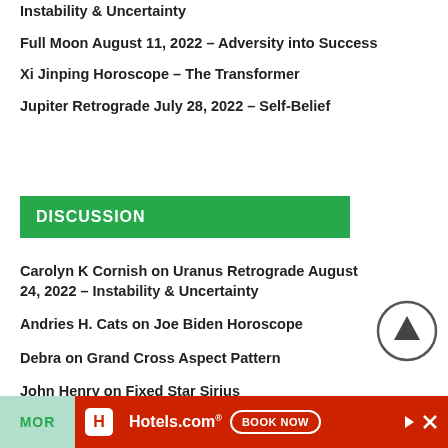Instability & Uncertainty
Full Moon August 11, 2022 – Adversity into Success
Xi Jinping Horoscope – The Transformer
Jupiter Retrograde July 28, 2022 – Self-Belief
DISCUSSION
Carolyn K Cornish on Uranus Retrograde August 24, 2022 – Instability & Uncertainty
Andries H. Cats on Joe Biden Horoscope
Debra on Grand Cross Aspect Pattern
John Henry on Fixed Star Sirius
Debra on Yod Aspect Pattern
[Figure (other): Scroll to top arrow button circle icon]
[Figure (other): Hotels.com advertisement banner with Book Now button]